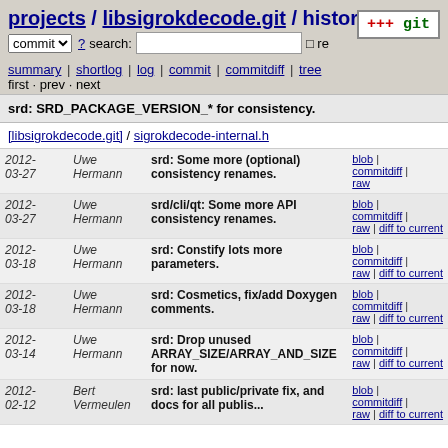projects / libsigrokdecode.git / history
summary | shortlog | log | commit | commitdiff | tree
first · prev · next
srd: SRD_PACKAGE_VERSION_* for consistency.
[libsigrokdecode.git] / sigrokdecode-internal.h
| Date | Author | Message | Links |
| --- | --- | --- | --- |
| 2012-03-27 | Uwe Hermann | srd: Some more (optional) consistency renames. | blob | commitdiff | raw |
| 2012-03-27 | Uwe Hermann | srd/cli/qt: Some more API consistency renames. | blob | commitdiff | raw | diff to current |
| 2012-03-18 | Uwe Hermann | srd: Constify lots more parameters. | blob | commitdiff | raw | diff to current |
| 2012-03-18 | Uwe Hermann | srd: Cosmetics, fix/add Doxygen comments. | blob | commitdiff | raw | diff to current |
| 2012-03-14 | Uwe Hermann | srd: Drop unused ARRAY_SIZE/ARRAY_AND_SIZE for now. | blob | commitdiff | raw | diff to current |
| 2012-02-12 | Bert Vermeulen | srd: last public/private fix, and docs for all publis... | blob | commitdiff | raw | diff to current |